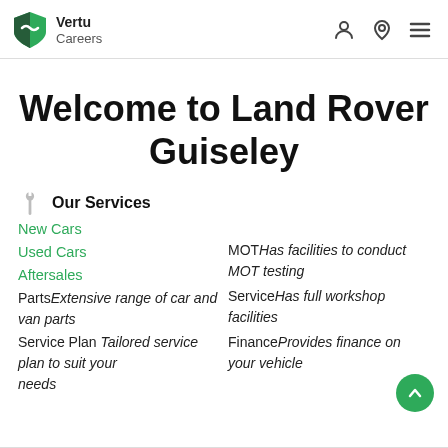Vertu Careers
Welcome to Land Rover Guiseley
Our Services
New Cars
Used Cars
Aftersales
PartsExtensive range of car and van parts
Service PlanTailored service plan to suit your needs
MOTHas facilities to conduct MOT testing
ServiceHas full workshop facilities
FinanceProvides finance on your vehicle